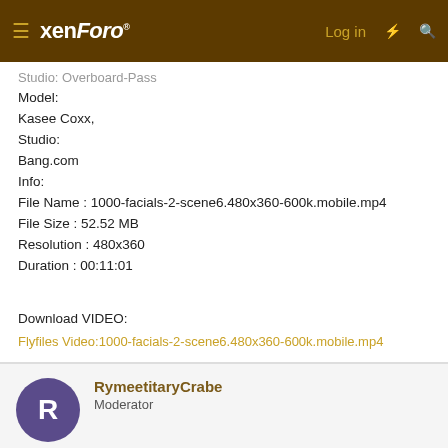xenForo — Log in
Studio: Overboard-Pass
Model:
Kasee Coxx,
Studio:
Bang.com
Info:
File Name : 1000-facials-2-scene6.480x360-600k.mobile.mp4
File Size : 52.52 MB
Resolution : 480x360
Duration : 00:11:01
Download VIDEO:
Flyfiles Video:1000-facials-2-scene6.480x360-600k.mobile.mp4
RymeetitaryCrabe
Moderator
Jun 23, 2022  #22,564